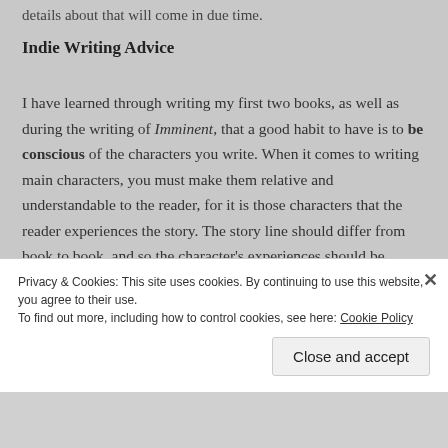details about that will come in due time.
Indie Writing Advice
I have learned through writing my first two books, as well as during the writing of Imminent, that a good habit to have is to be conscious of the characters you write. When it comes to writing main characters, you must make them relative and understandable to the reader, for it is those characters that the reader experiences the story. The story line should differ from book to book, and so the character's experiences should be unique to
Privacy & Cookies: This site uses cookies. By continuing to use this website, you agree to their use.
To find out more, including how to control cookies, see here: Cookie Policy
Close and accept